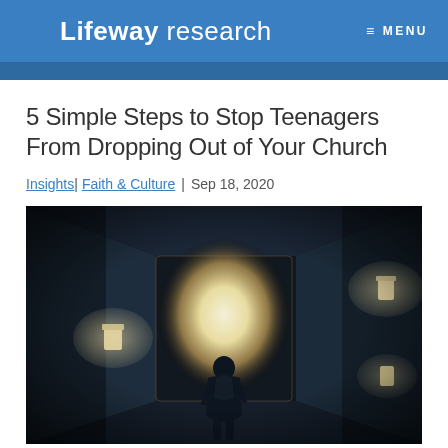Lifeway research  MENU
5 Simple Steps to Stop Teenagers From Dropping Out of Your Church
Insights| Faith & Culture | Sep 18, 2020
[Figure (photo): Person seen from behind standing at the end of a dark tunnel, with bright light at the exit and wall-mounted lights visible on the sides]